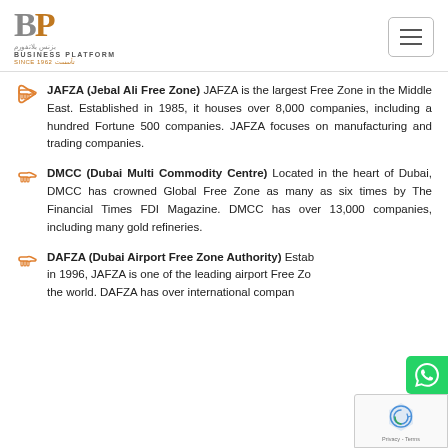Business Platform logo with hamburger menu
JAFZA (Jebal Ali Free Zone) JAFZA is the largest Free Zone in the Middle East. Established in 1985, it houses over 8,000 companies, including a hundred Fortune 500 companies. JAFZA focuses on manufacturing and trading companies.
DMCC (Dubai Multi Commodity Centre) Located in the heart of Dubai, DMCC has crowned Global Free Zone as many as six times by The Financial Times FDI Magazine. DMCC has over 13,000 companies, including many gold refineries.
DAFZA (Dubai Airport Free Zone Authority) Established in 1996, JAFZA is one of the leading airport Free Zones in the world. DAFZA has over international companies...